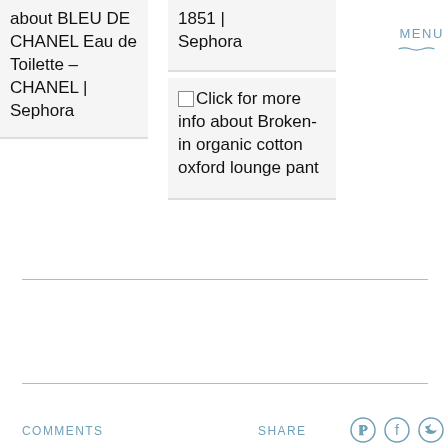about BLEU DE CHANEL Eau de Toilette - CHANEL | Sephora
1851 | Sephora
MENU
Click for more info about Broken-in organic cotton oxford lounge pant
COMMENTS
SHARE